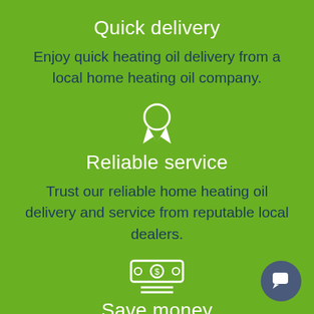Quick delivery
Enjoy quick heating oil delivery from a local home heating oil company.
[Figure (illustration): White award/medal ribbon icon]
Reliable service
Trust our reliable home heating oil delivery and service from reputable local dealers.
[Figure (illustration): White money/cash icon with dollar sign and two lines underneath]
Save money
Online efficiency allows you to